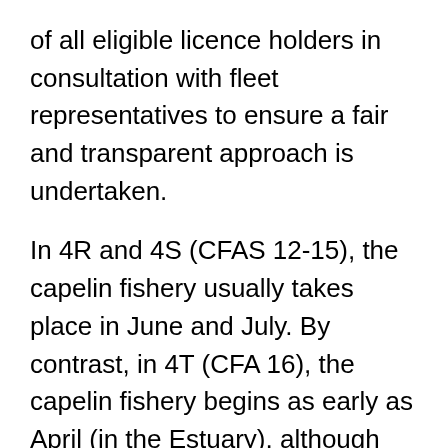of all eligible licence holders in consultation with fleet representatives to ensure a fair and transparent approach is undertaken.
In 4R and 4S (CFAS 12-15), the capelin fishery usually takes place in June and July. By contrast, in 4T (CFA 16), the capelin fishery begins as early as April (in the Estuary), although the highest landings are made in June in the southern Gulf.
For the purpose of this IFMP, DFO is prepared to continue with a flexible approach and unless otherwise stipulated,